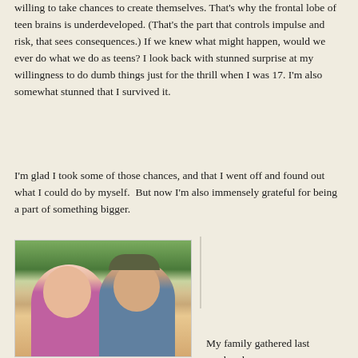willing to take chances to create themselves. That's why the frontal lobe of teen brains is underdeveloped. (That's the part that controls impulse and risk, that sees consequences.) If we knew what might happen, would we ever do what we do as teens? I look back with stunned surprise at my willingness to do dumb things just for the thrill when I was 17. I'm also somewhat stunned that I survived it.
I'm glad I took some of those chances, and that I went off and found out what I could do by myself. But now I'm also immensely grateful for being a part of something bigger.
[Figure (photo): Two women smiling and posing together outdoors near water with trees and greenery in the background. The woman on the left wears a pink/purple top, the woman on the right wears a cap and gray top.]
My family gathered last weekend for a reunion at a beautiful cabin in the forests. We...